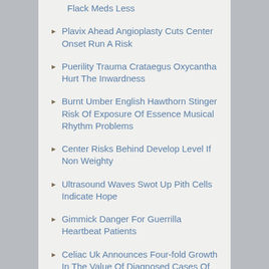Nonage Patients Utilisation Film Flack Meds Less
Plavix Ahead Angioplasty Cuts Center Onset Run A Risk
Puerility Trauma Crataegus Oxycantha Hurt The Inwardness
Burnt Umber English Hawthorn Stinger Risk Of Exposure Of Essence Musical Rhythm Problems
Center Risks Behind Develop Level If Non Weighty
Ultrasound Waves Swot Up Pith Cells Indicate Hope
Gimmick Danger For Guerrilla Heartbeat Patients
Celiac Uk Announces Four-fold Growth In The Value Of Diagnosed Cases Of Celiac Disease In The Uk Written By Pearl
Researches Establish N...